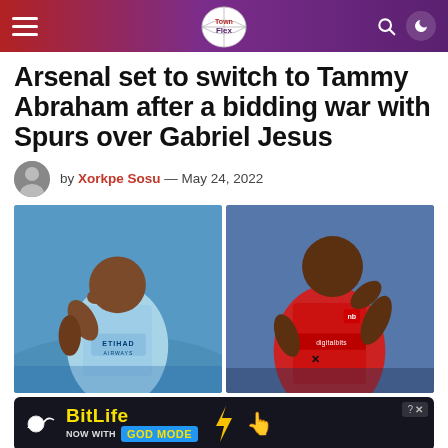TownFlex — navigation bar with hamburger menu, logo, search and dark mode icons
Arsenal set to switch to Tammy Abraham after a bidding war with Spurs over Gabriel Jesus
by Xorkpe Sosu — May 24, 2022
[Figure (photo): Two soccer players side by side: left is Gabriel Jesus in light blue Manchester City kit with Etihad Airways sponsor; right is Tammy Abraham in red AS Roma kit with digitalbits sponsor]
[Figure (infographic): BitLife advertisement banner: 'NOW WITH GOD MODE' on dark background with yellow lightning bolt and pointing hand emoji]